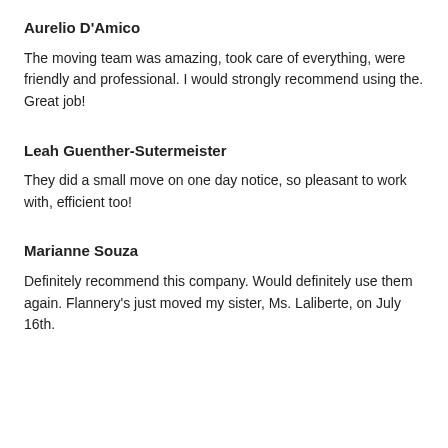Aurelio D'Amico
The moving team was amazing, took care of everything, were friendly and professional. I would strongly recommend using the. Great job!
Leah Guenther-Sutermeister
They did a small move on one day notice, so pleasant to work with, efficient too!
Marianne Souza
Definitely recommend this company. Would definitely use them again. Flannery's just moved my sister, Ms. Laliberte, on July 16th.